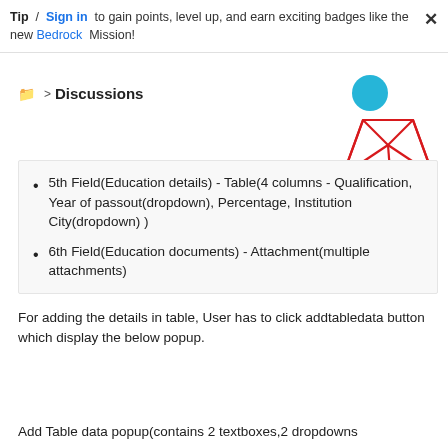Tip / Sign in to gain points, level up, and earn exciting badges like the new Bedrock Mission!
📁 > Discussions
[Figure (illustration): Decorative geometric red wireframe diamond/cube shape with a teal circle and orange semicircle, upper right corner]
5th Field(Education details) - Table(4 columns - Qualification, Year of passout(dropdown), Percentage, Institution City(dropdown) )
6th Field(Education documents) - Attachment(multiple attachments)
For adding the details in table, User has to click addtabledata button which display the below popup.
Add Table data popup(contains 2 textboxes,2 dropdowns